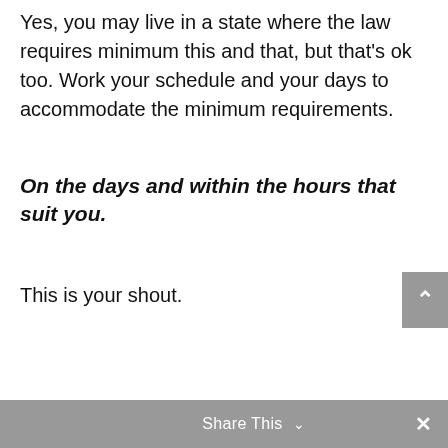Yes, you may live in a state where the law requires minimum this and that, but that's ok too. Work your schedule and your days to accommodate the minimum requirements.
On the days and within the hours that suit you.
This is your shout.
Share This ∨  ✕